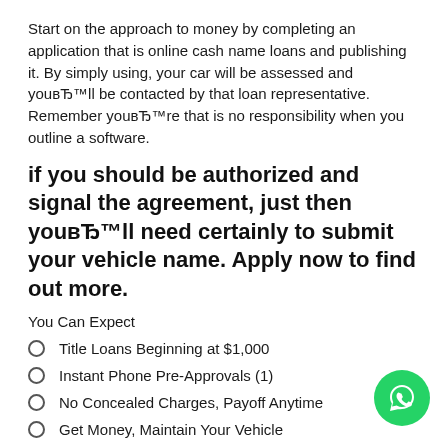Start on the approach to money by completing an application that is online cash name loans and publishing it. By simply using, your car will be assessed and youвЂ™ll be contacted by that loan representative. Remember youвЂ™re that is no responsibility when you outline a software.
if you should be authorized and signal the agreement, just then youвЂ™ll need certainly to submit your vehicle name. Apply now to find out more.
You Can Expect
Title Loans Beginning at $1,000
Instant Phone Pre-Approvals (1)
No Concealed Charges, Payoff Anytime
Get Money, Maintain Your Vehicle
12 to 48-month terms